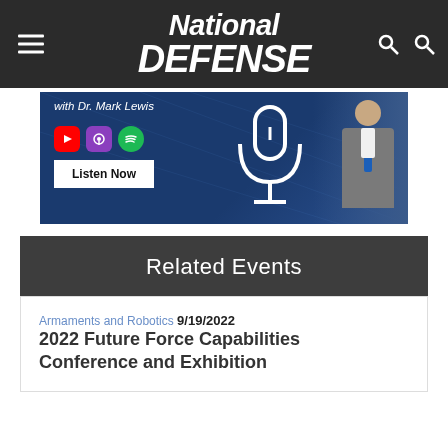National DEFENSE
[Figure (screenshot): Advertisement banner for a podcast 'with Dr. Mark Lewis' featuring YouTube, Apple Podcasts, and Spotify icons, a Listen Now button, a microphone graphic, and a man in a suit on a blue background.]
Related Events
Armaments and Robotics 9/19/2022
2022 Future Force Capabilities Conference and Exhibition